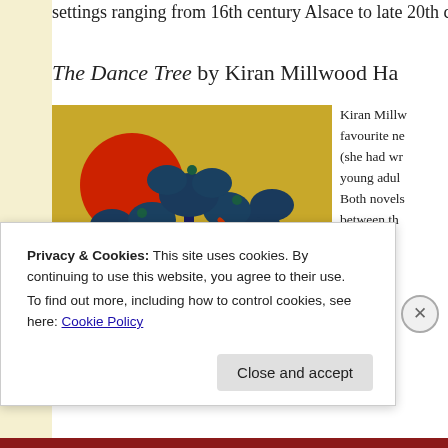settings ranging from 16th century Alsace to late 20th c...
The Dance Tree by Kiran Millwood Ha...
[Figure (photo): Book cover of 'The Dance Tree' showing decorative tree with blue foliage, red sun, and title text 'THE' visible on a gold background]
Kiran Millw... favourite ne... (she had wr... young adul... Both novels... between th... hoo... d... nd... . B...
Privacy & Cookies: This site uses cookies. By continuing to use this website, you agree to their use.
To find out more, including how to control cookies, see here: Cookie Policy
Close and accept